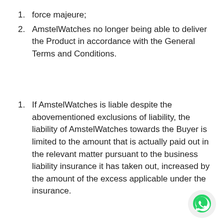force majeure;
AmstelWatches no longer being able to deliver the Product in accordance with the General Terms and Conditions.
If AmstelWatches is liable despite the abovementioned exclusions of liability, the liability of AmstelWatches towards the Buyer is limited to the amount that is actually paid out in the relevant matter pursuant to the business liability insurance it has taken out, increased by the amount of the excess applicable under the insurance.